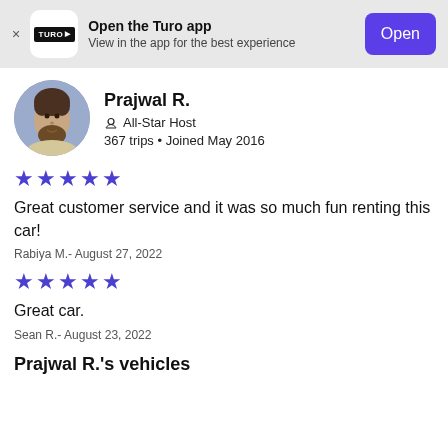[Figure (screenshot): Turo app banner with logo, open button]
Open the Turo app
View in the app for the best experience
Open
[Figure (photo): Profile photo of Prajwal R., circular avatar]
Prajwal R.
All-Star Host
367 trips • Joined May 2016
★★★★★
Great customer service and it was so much fun renting this car!
Rabiya M.- August 27, 2022
★★★★★
Great car.
Sean R.- August 23, 2022
Prajwal R.'s vehicles